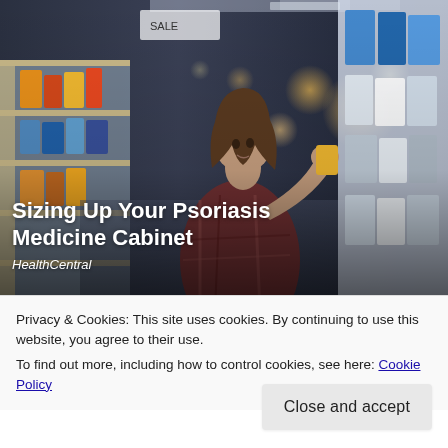[Figure (photo): Woman in a plaid shirt browsing products in a pharmacy or store aisle with shelves of products visible on both sides, bokeh lights in background]
Sizing Up Your Psoriasis Medicine Cabinet
HealthCentral
Privacy & Cookies: This site uses cookies. By continuing to use this website, you agree to their use.
To find out more, including how to control cookies, see here: Cookie Policy
Close and accept